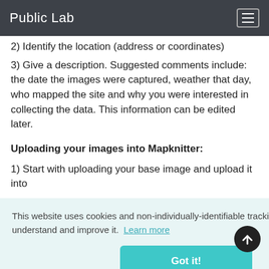Public Lab
2) Identify the location (address or coordinates)
3) Give a description. Suggested comments include: the date the images were captured, weather that day, who mapped the site and why you were interested in collecting the data. This information can be edited later.
Uploading your images into Mapknitter:
1) Start with uploading your base image and upload it into
This website uses cookies and non-individually-identifiable tracking to help us understand and improve it. Learn more
Got it!
* Rotate (r)